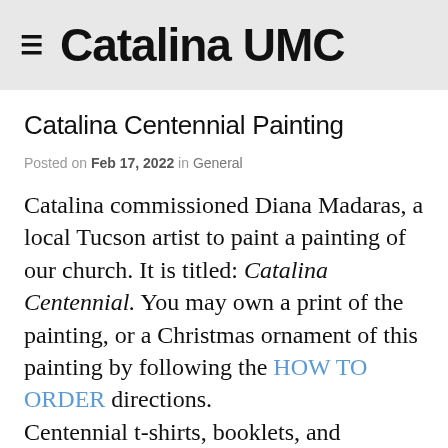≡  Catalina UMC
Catalina Centennial Painting
Posted on Feb 17, 2022 in General
Catalina commissioned Diana Madaras, a local Tucson artist to paint a painting of our church. It is titled: Catalina Centennial. You may own a print of the painting, or a Christmas ornament of this painting by following the HOW TO ORDER directions.
Centennial t-shirts, booklets, and painting note cards are now available